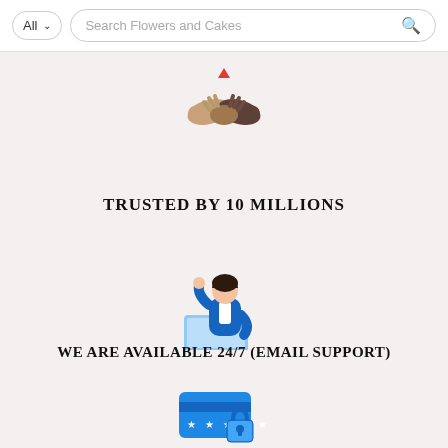All  Search Flowers and Cakes
[Figure (illustration): Handshake icon with a small red heart/arrow above two clasped hands]
TRUSTED BY 10 MILLIONS
[Figure (illustration): Customer support agent illustration — woman in blue jacket sitting with laptop, raising one hand]
WE ARE AVAILABLE 24/7 (EMAIL SUPPORT)
[Figure (illustration): Secure payment icon — blue credit card with asterisks and a padlock]